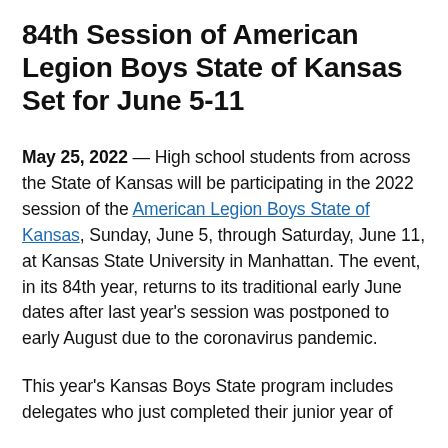84th Session of American Legion Boys State of Kansas Set for June 5-11
May 25, 2022 — High school students from across the State of Kansas will be participating in the 2022 session of the American Legion Boys State of Kansas, Sunday, June 5, through Saturday, June 11, at Kansas State University in Manhattan. The event, in its 84th year, returns to its traditional early June dates after last year's session was postponed to early August due to the coronavirus pandemic.
This year's Kansas Boys State program includes delegates who just completed their junior year of